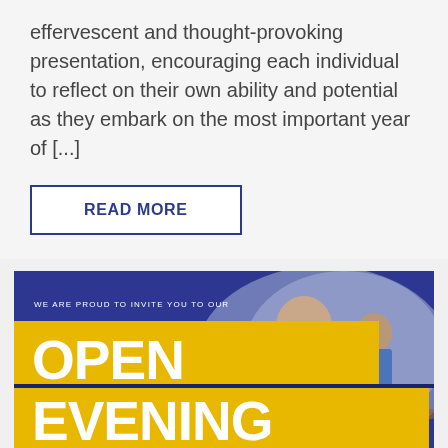effervescent and thought-provoking presentation, encouraging each individual to reflect on their own ability and potential as they embark on the most important year of [...]
READ MORE
[Figure (infographic): Open Evening promotional banner with dark blue background, yellow ribbon bars for 'OPEN EVENING' text in white, photo of school students in blue uniforms working at desks on the right side, small text 'WE ARE PROUD TO INVITE YOU TO OUR' at top left, and date 'WEDNESDAY 10TH OCTOBER 2018 6PM – 8PM' at bottom.]